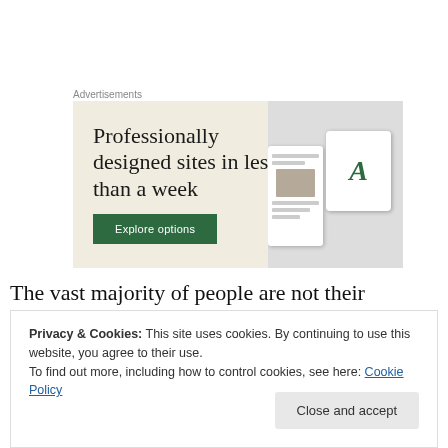Advertisements
[Figure (illustration): Advertisement banner with beige background showing 'Professionally designed sites in less than a week' with a green 'Explore options' button and mock website/app screen images on the right.]
The vast majority of people are not their “whole” selves.
Privacy & Cookies: This site uses cookies. By continuing to use this website, you agree to their use.
To find out more, including how to control cookies, see here: Cookie Policy
Close and accept